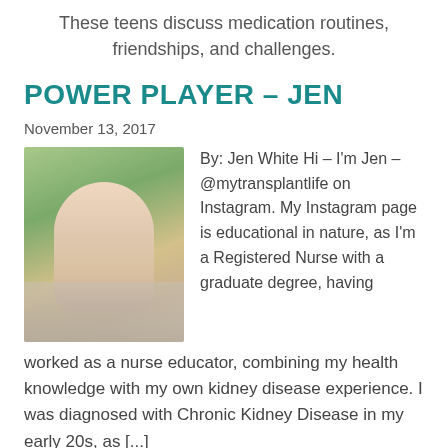These teens discuss medication routines, friendships, and challenges.
POWER PLAYER – JEN
November 13, 2017
[Figure (photo): Young blonde woman standing outdoors in a park, wearing a sleeveless grey top, with trees in background]
By: Jen White Hi – I'm Jen – @mytransplantlife on Instagram. My Instagram page is educational in nature, as I'm a Registered Nurse with a graduate degree, having worked as a nurse educator, combining my health knowledge with my own kidney disease experience. I was diagnosed with Chronic Kidney Disease in my early 20s, as [...]